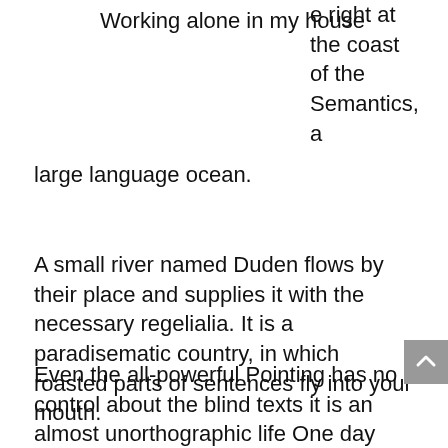Working alone in my house
e right at the coast of the Semantics, a large language ocean.
A small river named Duden flows by their place and supplies it with the necessary regelialia. It is a paradisematic country, in which roasted parts of sentences fly into your mouth.
Even the all-powerful Pointing has no control about the blind texts it is an almost unorthographic life One day however a small line of blind text by the name of Lorem Ipsum decided to leave for the far World of Grammar. The Big Oxmox advised her not to do so, because there were thousands of bad